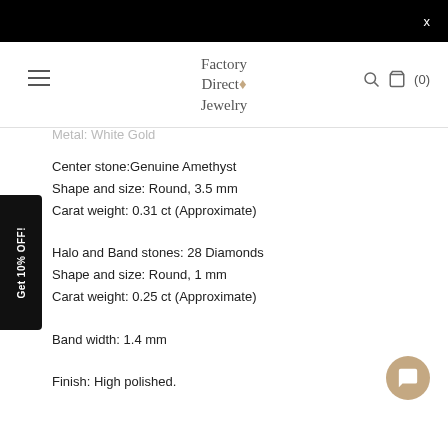Factory Direct Jewelry
Metal: White Gold
Center stone: Genuine Amethyst
Shape and size: Round, 3.5 mm
Carat weight: 0.31 ct (Approximate)
Halo and Band stones: 28 Diamonds
Shape and size: Round, 1 mm
Carat weight: 0.25 ct (Approximate)
Band width: 1.4 mm
Finish: High polished.